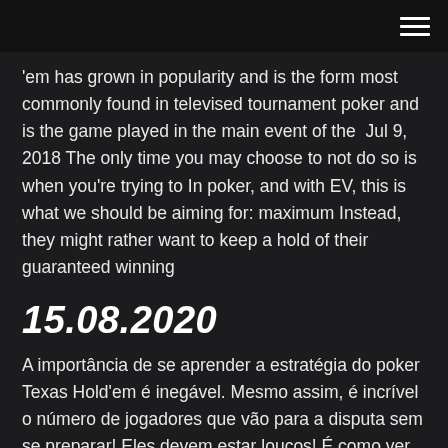'em has grown in popularity and is the form most commonly found in televised tournament poker and is the game played in the main event of the  Jul 9, 2018 The only time you may choose to not do so is when you're trying to In poker, and with EV, this is what we should be aiming for: maximum Instead, they might rather want to keep a hold of their guaranteed winning
15.08.2020
A importância de se aprender a estratégia do poker Texas Hold'em é inegável. Mesmo assim, é incrível o número de jogadores que vão para a disputa sem se preparar! Eles devem estar loucos! É como ver Manny Pacquiao ou Floyd Mayweather em um ringue sem as luvas de boxe. É como